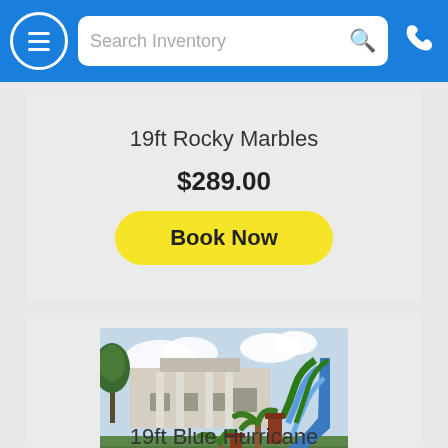Search Inventory
19ft Rocky Marbles
$289.00
Book Now
[Figure (photo): Inflatable water slide - 19ft Blue Hurricane, blue and green colors with palm tree decorations, photographed outdoors in front of a house]
19ft Blue Hurricane